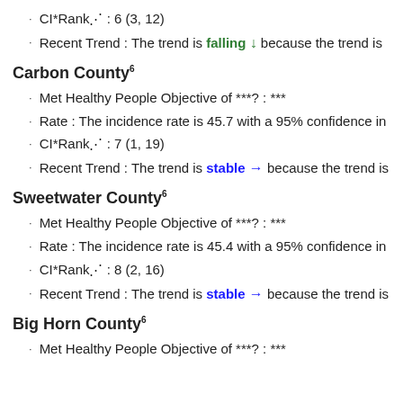CI*Rank⋔ : 6 (3, 12)
Recent Trend : The trend is falling ↓ because the trend is
Carbon County⁶
Met Healthy People Objective of ***? : ***
Rate : The incidence rate is 45.7 with a 95% confidence in
CI*Rank⋔ : 7 (1, 19)
Recent Trend : The trend is stable → because the trend is
Sweetwater County⁶
Met Healthy People Objective of ***? : ***
Rate : The incidence rate is 45.4 with a 95% confidence in
CI*Rank⋔ : 8 (2, 16)
Recent Trend : The trend is stable → because the trend is
Big Horn County⁶
Met Healthy People Objective of ***? : ***